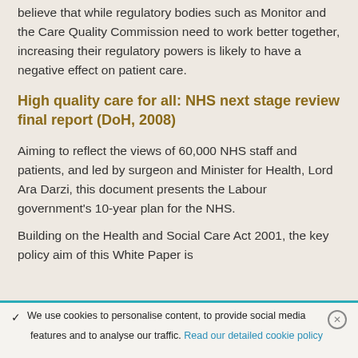believe that while regulatory bodies such as Monitor and the Care Quality Commission need to work better together, increasing their regulatory powers is likely to have a negative effect on patient care.
High quality care for all: NHS next stage review final report (DoH, 2008)
Aiming to reflect the views of 60,000 NHS staff and patients, and led by surgeon and Minister for Health, Lord Ara Darzi, this document presents the Labour government's 10-year plan for the NHS.
Building on the Health and Social Care Act 2001, the key policy aim of this White Paper is
We use cookies to personalise content, to provide social media features and to analyse our traffic. Read our detailed cookie policy